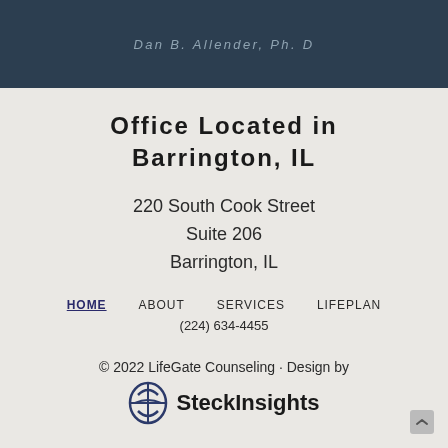Dan B. Allender, Ph. D
Office Located in Barrington, IL
220 South Cook Street
Suite 206
Barrington, IL
HOME   ABOUT   SERVICES   LIFEPLAN
(224) 634-4455
© 2022 LifeGate Counseling · Design by SteckInsights